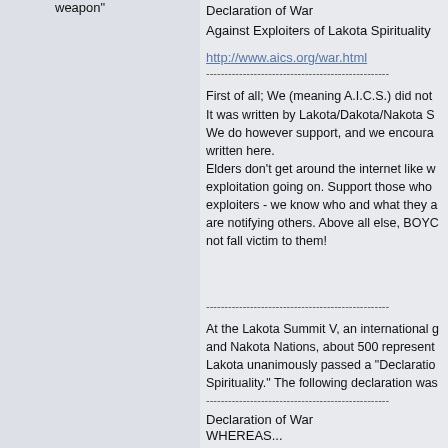weapon"
Declaration of War Against Exploiters of Lakota Spirituality
http://www.aics.org/war.html
First of all; We (meaning A.I.C.S.) did not write this document. It was written by Lakota/Dakota/Nakota S... We do however support, and we encourage... written here. Elders don't get around the internet like w... exploitation going on. Support those who... exploiters - we know who and what they a... are notifying others. Above all else, BOYC... not fall victim to them!
At the Lakota Summit V, an international g... and Nakota Nations, about 500 represent... Lakota unanimously passed a "Declaratio... Spirituality." The following declaration was...
Declaration of War
WHEREAS...